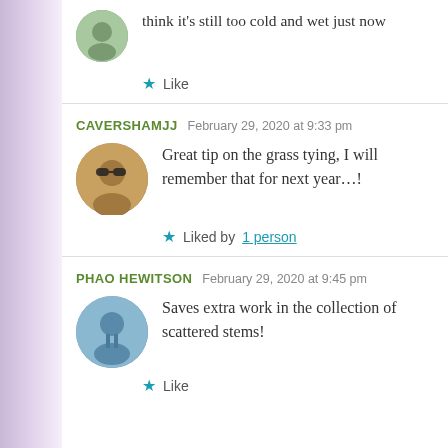think it’s still too cold and wet just now
Like
CAVERSHAMJJ  February 29, 2020 at 9:33 pm
Great tip on the grass tying, I will remember that for next year…!
Liked by 1 person
PHAO HEWITSON  February 29, 2020 at 9:45 pm
Saves extra work in the collection of scattered stems!
Like